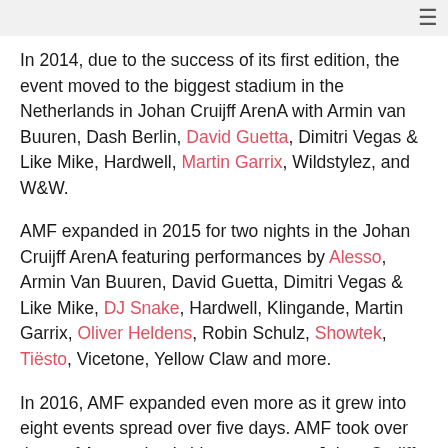≡
In 2014, due to the success of its first edition, the event moved to the biggest stadium in the Netherlands in Johan Cruijff ArenA with Armin van Buuren, Dash Berlin, David Guetta, Dimitri Vegas & Like Mike, Hardwell, Martin Garrix, Wildstylez, and W&W.
AMF expanded in 2015 for two nights in the Johan Cruijff ArenA featuring performances by Alesso, Armin Van Buuren, David Guetta, Dimitri Vegas & Like Mike, DJ Snake, Hardwell, Klingande, Martin Garrix, Oliver Heldens, Robin Schulz, Showtek, Tiësto, Vicetone, Yellow Claw and more.
In 2016, AMF expanded even more as it grew into eight events spread over five days. AMF took over three of Amsterdam's biggest venues: Johan Cruijff ArenA, Ziggo Dome, and AFAS Live. AMF.TV broadcasted to over 180 countries worldwide with sets by Sunnery James & Ryan Marciano, W&W, Afrojack, Armin Van Buuren, Blasterjaxx, Dash Berlin, Dillon Francis, Dimitri Vegas & Like Mike, DVBBS, Nicky Romero, Steve Aoki, Axwell & Ingrosso, and more.